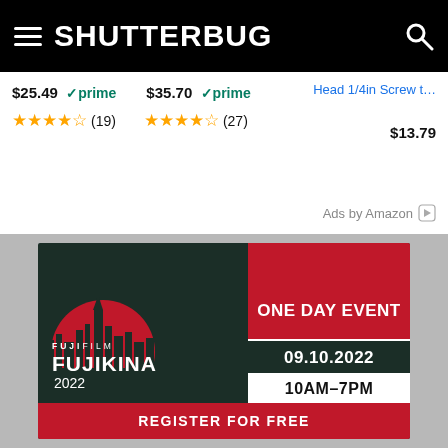SHUTTERBUG
[Figure (screenshot): Amazon ad section showing product prices: $25.49 prime (4.5 stars, 19 reviews), $35.70 prime (4.5 stars, 27 reviews), Head 1/4in Screw t... $13.79, Ads by Amazon]
[Figure (advertisement): Fujifilm Fujikina 2022 one day event advertisement on dark green background with red sun and city skyline. ONE DAY EVENT, 09.10.2022, 10AM-7PM, REGISTER FOR FREE]